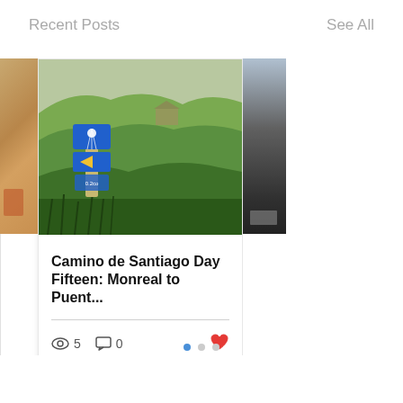Recent Posts
See All
[Figure (photo): Camino de Santiago waymarker stone with blue directional signs showing a shell symbol and arrow pointing left, with '0.2co' text, set in green rolling hillside landscape]
Camino de Santiago Day Fifteen: Monreal to Puent...
5 views  0 comments